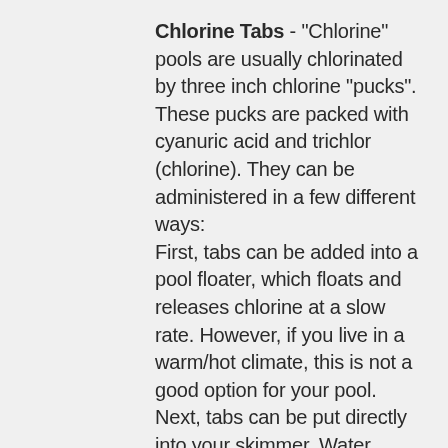Chlorine Tabs - "Chlorine" pools are usually chlorinated by three inch chlorine "pucks". These pucks are packed with cyanuric acid and trichlor (chlorine). They can be administered in a few different ways: First, tabs can be added into a pool floater, which floats and releases chlorine at a slow rate. However, if you live in a warm/hot climate, this is not a good option for your pool. Next, tabs can be put directly into your skimmer. Water running through the skimmer dissolves chlorine tabs at a much faster pace than in a floater. The potential issue with this method is that when the system is off, tabs will continu…